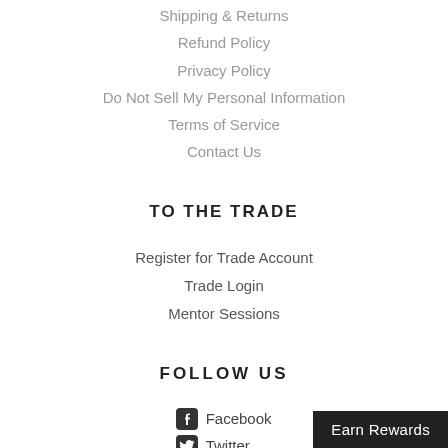Shipping & Returns
Refund Policy
Privacy Policy
Do Not Sell My Personal Information
Terms of Service
Contact Us
TO THE TRADE
Register for Trade Account
Trade Login
Mentor Sessions
FOLLOW US
Facebook
Twitter
Pinterest
Instagram
Earn Rewards